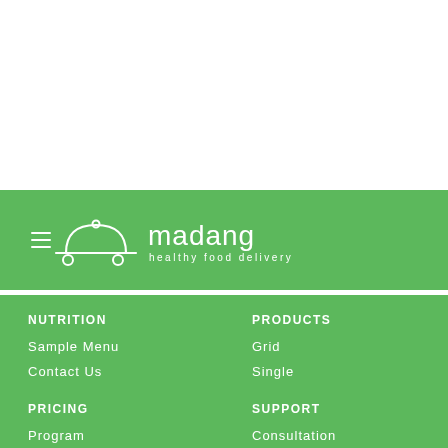[Figure (logo): Madang healthy food delivery logo with food cloche delivery icon and hamburger menu lines in white on green background]
NUTRITION
Sample Menu
Contact Us
PRODUCTS
Grid
Single
PRICING
Program
Deals
SUPPORT
Consultation
About Us